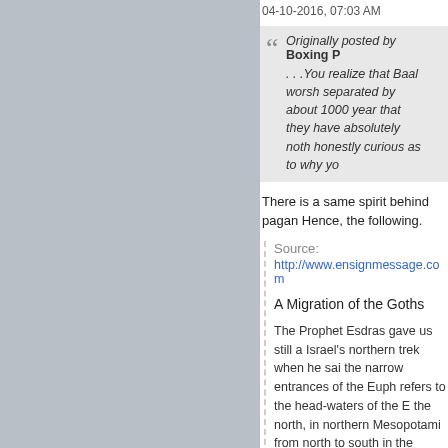04-10-2016, 07:03 AM
Originally posted by Boxing P
. . .You realize that Baal worsh separated by about 1000 year that they have absolutely noth honestly curious as to why yo
There is a same spirit behind pagan Hence, the following.
Source:
http://www.ensignmessage.com
A Migration of the Goths
The Prophet Esdras gave us still a Israel's northern trek when he sai the narrow entrances of the Euph refers to the head-waters of the E the north, in northern Mesopotami from north to south in the northern
So we know two things for sure ab Israelites migrated: it was northwa Europe, and it was a remote wilde scholar, Dr. Pascoe Goard, has st the history of all the territory south that the old Euhr